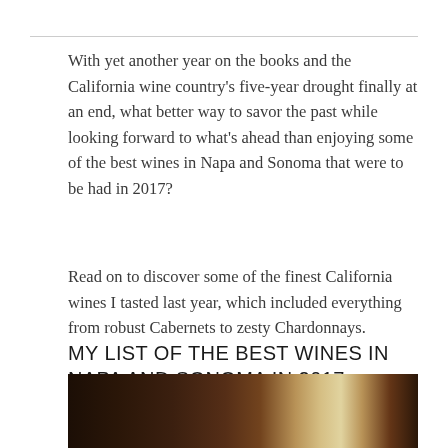With yet another year on the books and the California wine country's five-year drought finally at an end, what better way to savor the past while looking forward to what's ahead than enjoying some of the best wines in Napa and Sonoma that were to be had in 2017?
Read on to discover some of the finest California wines I tasted last year, which included everything from robust Cabernets to zesty Chardonnays.
MY LIST OF THE BEST WINES IN NAPA AND SONOMA IN 2017
[Figure (photo): Dark atmospheric photo of wine barrels or cellar interior with warm golden light in the center]